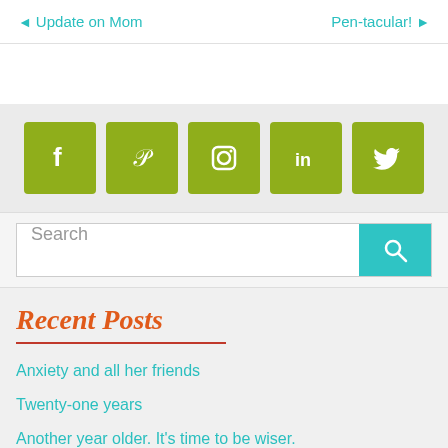◄ Update on Mom    Pen-tacular! ►
[Figure (infographic): Five olive/yellow-green social media icon buttons: Facebook (f), Pinterest (p), Instagram (camera), LinkedIn (in), Twitter (bird)]
Search
Recent Posts
Anxiety and all her friends
Twenty-one years
Another year older. It's time to be wiser.
It's an age thing